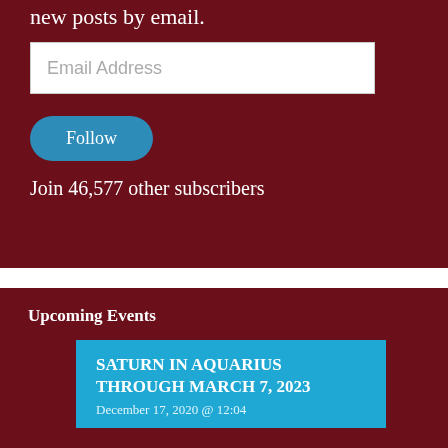new posts by email.
Email Address
Follow
Join 46,577 other subscribers
Upcoming Events
SATURN IN AQUARIUS THROUGH MARCH 7, 2023
December 17, 2020 @ 12:04